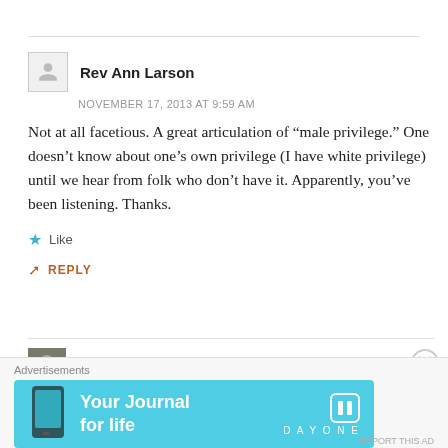Rev Ann Larson
NOVEMBER 17, 2013 AT 9:59 AM
Not at all facetious. A great articulation of “male privilege.” One doesn’t know about one’s own privilege (I have white privilege) until we hear from folk who don’t have it. Apparently, you’ve been listening. Thanks.
Like
REPLY
★ Rev. Erik Parker
[Figure (infographic): Day One app advertisement banner: light blue background with phone image, text 'Your Journal for life', Day One logo]
Advertisements